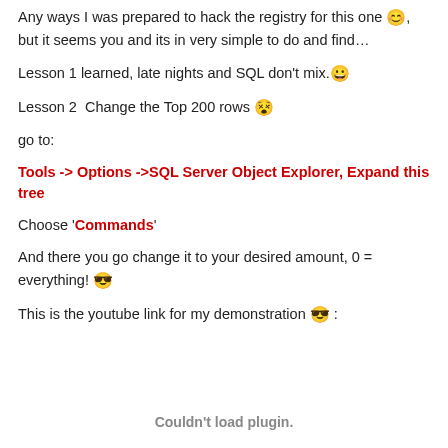Any ways I was prepared to hack the registry for this one 😊, but it seems you and its in very simple to do and find…
Lesson 1 learned, late nights and SQL don't mix. 😀
Lesson 2  Change the Top 200 rows 😵
go to:
Tools -> Options ->SQL Server Object Explorer, Expand this tree
Choose 'Commands'
And there you go change it to your desired amount, 0 = everything! 😎
This is the youtube link for my demonstration 😎 :
Couldn't load plugin.